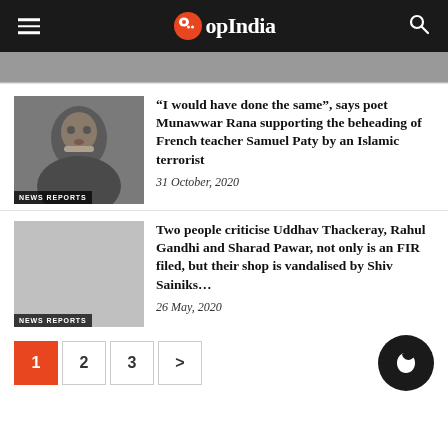OpIndia
“I would have done the same”, says poet Munawwar Rana supporting the beheading of French teacher Samuel Paty by an Islamic terrorist
31 October, 2020
Two people criticise Uddhav Thackeray, Rahul Gandhi and Sharad Pawar, not only is an FIR filed, but their shop is vandalised by Shiv Sainiks…
26 May, 2020
1  2  3  >